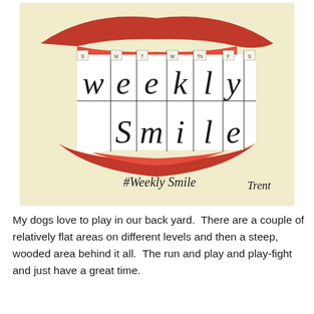[Figure (illustration): A cartoon illustration of a wide smiling mouth with teeth shaped like a weekly calendar grid. Each tooth is a column for a day of the week (S, M, T, W, Th, F, S). The top row of teeth spells 'weekly' and the bottom row spells 'Smile'. The background is a cream/beige color. Text '#Weekly Smile' appears at the bottom left and 'Trent' signature at the bottom right.]
My dogs love to play in our back yard.  There are a couple of relatively flat areas on different levels and then a steep, wooded area behind it all.  The run and play and play-fight and just have a great time.